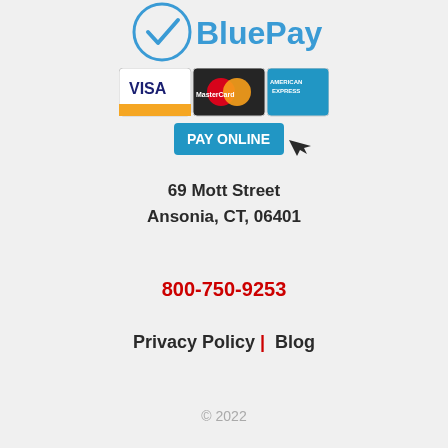[Figure (logo): BluePay logo with checkmark in circle and blue text]
[Figure (illustration): Payment methods showing Visa, MasterCard, American Express cards and a PAY ONLINE button with cursor]
69 Mott Street
Ansonia, CT, 06401
800-750-9253
Privacy Policy  |   Blog
© 2022